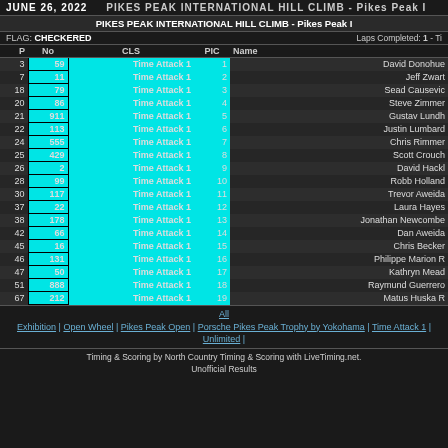JUNE 26, 2022 - PIKES PEAK INTERNATIONAL HILL CLIMB - Pikes Peak I
FLAG: CHECKERED | Laps Completed: 1 - Ti
| P | No | CLS | PIC | Name |
| --- | --- | --- | --- | --- |
| 3 | 59 | Time Attack 1 | 1 | David Donohue |
| 7 | 11 | Time Attack 1 | 2 | Jeff Zwart |
| 18 | 79 | Time Attack 1 | 3 | Sead Causevic |
| 20 | 86 | Time Attack 1 | 4 | Steve Zimmer |
| 21 | 911 | Time Attack 1 | 5 | Gustav Lundh |
| 22 | 113 | Time Attack 1 | 6 | Justin Lumbard |
| 24 | 555 | Time Attack 1 | 7 | Chris Rimmer |
| 25 | 429 | Time Attack 1 | 8 | Scott Crouch |
| 26 | 2 | Time Attack 1 | 9 | David Hackl |
| 28 | 99 | Time Attack 1 | 10 | Robb Holland |
| 30 | 117 | Time Attack 1 | 11 | Trevor Aweida |
| 37 | 22 | Time Attack 1 | 12 | Laura Hayes |
| 38 | 178 | Time Attack 1 | 13 | Jonathan Newcombe |
| 42 | 66 | Time Attack 1 | 14 | Dan Aweida |
| 45 | 16 | Time Attack 1 | 15 | Chris Becker |
| 46 | 131 | Time Attack 1 | 16 | Philippe Marion R |
| 47 | 50 | Time Attack 1 | 17 | Kathryn Mead |
| 51 | 888 | Time Attack 1 | 18 | Raymund Guerrero |
| 67 | 212 | Time Attack 1 | 19 | Matus Huska R |
All | Exhibition | Open Wheel | Pikes Peak Open | Porsche Pikes Peak Trophy by Yokohama | Time Attack 1 | Unlimited |
Timing & Scoring by North Country Timing & Scoring with LiveTiming.net. Unofficial Results